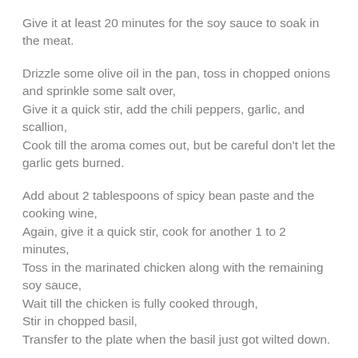Give it at least 20 minutes for the soy sauce to soak in the meat.
Drizzle some olive oil in the pan, toss in chopped onions and sprinkle some salt over,
Give it a quick stir, add the chili peppers, garlic, and scallion,
Cook till the aroma comes out, but be careful don't let the garlic gets burned.
Add about 2 tablespoons of spicy bean paste and the cooking wine,
Again, give it a quick stir, cook for another 1 to 2 minutes,
Toss in the marinated chicken along with the remaining soy sauce,
Wait till the chicken is fully cooked through,
Stir in chopped basil,
Transfer to the plate when the basil just got wilted down.
Drizzle half of the lime juice before serving.
That's it, simple dish that matches perfectly with a bowl of steamy white rice!